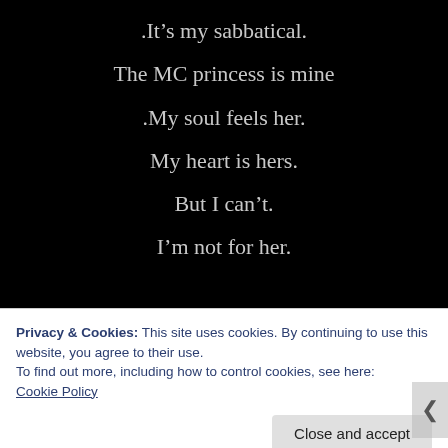.It’s my sabbatical.
The MC princess is mine
.My soul feels her.
My heart is hers.
But I can’t.
I’m not for her.
Privacy & Cookies: This site uses cookies. By continuing to use this website, you agree to their use.
To find out more, including how to control cookies, see here: Cookie Policy
Close and accept